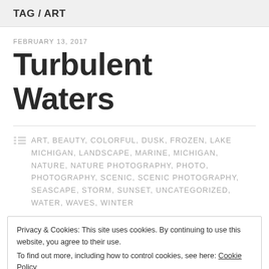TAG / ART
FEBRUARY 13, 2017
Turbulent Waters
ART, BEAUTY, COLORFUL, DUSK, FROZEN, LAKE MICHIGAN, LANDSCAPE, MARINE, MICHIGAN, NATURE, NATURE PHOTOGRAPHY, PHOTO, PHOTOGRAPHY, SCENIC, SCENIC PHOTOGRAPHY, SEASCAPE, STORM, SUNSET, UNCATEGORIZED, WATER, WAVES, WINTER
Privacy & Cookies: This site uses cookies. By continuing to use this website, you agree to their use.
To find out more, including how to control cookies, see here: Cookie Policy
Close and accept